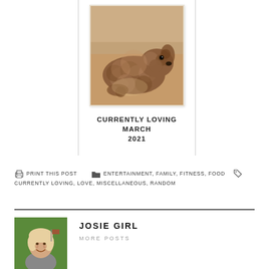[Figure (photo): Photo of a fluffy brown/golden puppy lying down on a couch or cushioned surface, viewed from the side]
CURRENTLY LOVING MARCH 2021
PRINT THIS POST   ENTERTAINMENT, FAMILY, FITNESS, FOOD   CURRENTLY LOVING, LOVE, MISCELLANEOUS, RANDOM
[Figure (photo): Photo of a smiling woman with light hair outdoors on grass, wearing a gray t-shirt]
JOSIE GIRL
MORE POSTS